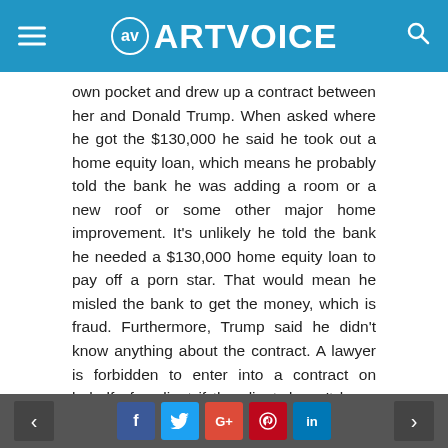ARTVOICE
own pocket and drew up a contract between her and Donald Trump. When asked where he got the $130,000 he said he took out a home equity loan, which means he probably told the bank he was adding a room or a new roof or some other major home improvement. It’s unlikely he told the bank he needed a $130,000 home equity loan to pay off a porn star. That would mean he misled the bank to get the money, which is fraud. Furthermore, Trump said he didn’t know anything about the contract. A lawyer is forbidden to enter into a contract on behalf of a client if the client doesn’t know he’s doing it. Those are only the obvious points. But why did the Feds need to seize records rather than ask for them? Why did they get a “No Knock” warrant? What about attorney client
social share buttons: facebook, twitter, google+, pinterest, linkedin